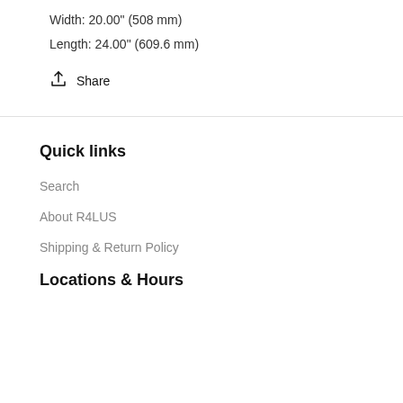Width: 20.00" (508 mm)
Length: 24.00" (609.6 mm)
Share
Quick links
Search
About R4LUS
Shipping & Return Policy
Locations & Hours